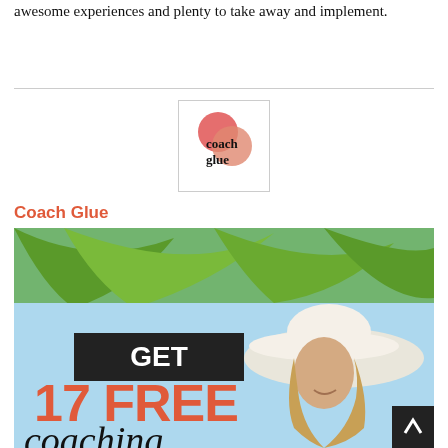awesome experiences and plenty to take away and implement.
[Figure (logo): Coach Glue logo with red/coral overlapping circles and text 'coach glue']
Coach Glue
[Figure (photo): Advertisement banner showing a smiling woman with a white sun hat under palm leaves, with text 'GET 17 FREE coaching']